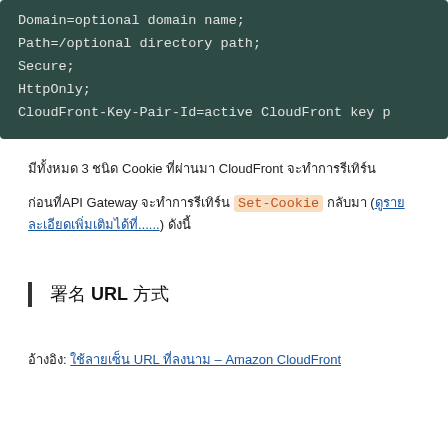[Figure (screenshot): Code block with dark green background showing cookie attributes: Domain=optional domain name; Path=/optional directory path; Secure; HttpOnly; CloudFront-Key-Pair-Id=active CloudFront key p]
มีทั้งหมด 3 ชนิด Cookie ที่ผ่านมา CloudFront จะทำการรีเทิร์น
ก่อนที่API Gateway จะทำการรีเทิร์น Set-Cookie กลับมา (ดูรายละเอียดเพิ่มเติมได้ที่......) ดังนี้
署名 URL 方式
อ้างอิง: ใช้ลายเซ็น URL ที่ลงนาม – Amazon CloudFront